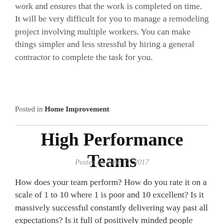work and ensures that the work is completed on time. It will be very difficult for you to manage a remodeling project involving multiple workers. You can make things simpler and less stressful by hiring a general contractor to complete the task for you.
Posted in Home Improvement
High Performance Teams
Posted on June 27, 2017
How does your team perform? How do you rate it on a scale of 1 to 10 where 1 is poor and 10 excellent? Is it massively successful constantly delivering way past all expectations? Is it full of positively minded people working together to achieve challenging business goals? Is it autonomous, responding effectively to challenges and opportunities large and small?